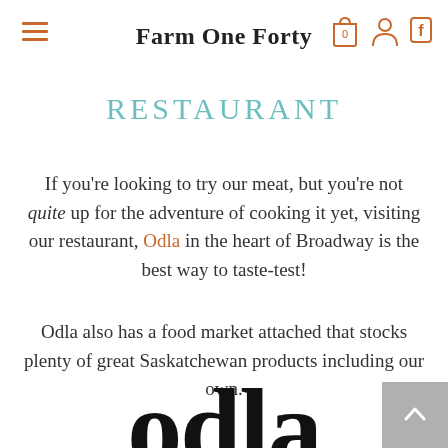Farm One Forty
RESTAURANT
If you're looking to try our meat, but you're not quite up for the adventure of cooking it yet, visiting our restaurant, Odla in the heart of Broadway is the best way to taste-test!
Odla also has a food market attached that stocks plenty of great Saskatchewan products including our own.
[Figure (logo): Large black serif 'odla' logo text, partially cropped at the bottom of the page]